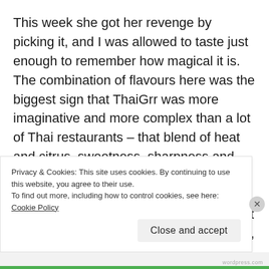This week she got her revenge by picking it, and I was allowed to taste just enough to remember how magical it is. The combination of flavours here was the biggest sign that ThaiGrr was more imaginative and more complex than a lot of Thai restaurants – that blend of heat and citrus, sweetness, sharpness and chilli. The softness of the pork belly, the crunch of the green beans and that sauce, clinging to everything. I did think it wasn't quite as amazing as that first time, the meat perhaps a tad less tender
Privacy & Cookies: This site uses cookies. By continuing to use this website, you agree to their use.
To find out more, including how to control cookies, see here: Cookie Policy